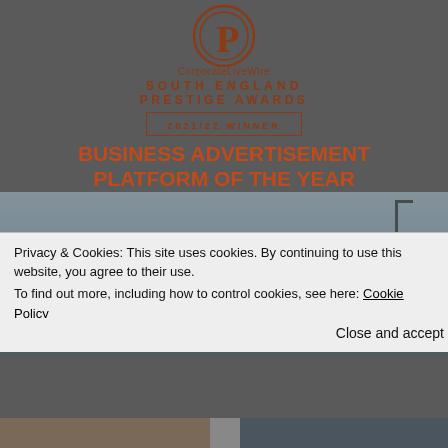[Figure (logo): CorporateLiveWire South England Prestige Awards logo — circular orange/red P monogram]
CorporateLiveWire
SOUTH ENGLAND PRESTIGE AWARDS
2021/22 WINNER
BUSINESS ADVERTISEMENT PLATFORM OF THE YEAR
[Figure (photo): Outdoor street scene with large billboard showing ADVERTISE text in blue]
Privacy & Cookies: This site uses cookies. By continuing to use this website, you agree to their use.
To find out more, including how to control cookies, see here: Cookie Policy
Close and accept
[Figure (photo): Bottom strip showing partial images]